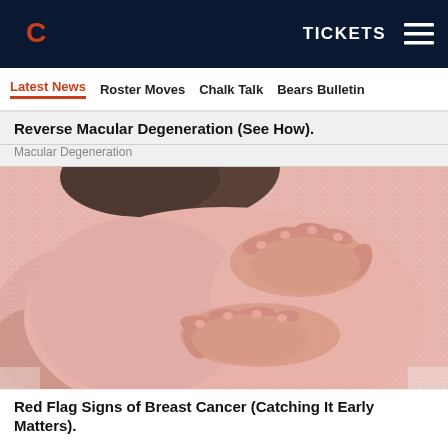TICKETS
Latest News   Roster Moves   Chalk Talk   Bears Bulletin
Reverse Macular Degeneration (See How).
Macular Degeneration
[Figure (photo): Close-up photo of a person in a pink/salmon knit sweater with hands placed on their chest area, suggesting a breast self-examination or breast cancer awareness context.]
Red Flag Signs of Breast Cancer (Catching It Early Matters).